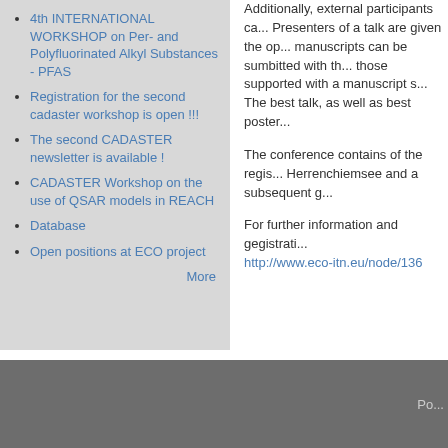4th INTERNATIONAL WORKSHOP on Per- and Polyfluorinated Alkyl Substances - PFAS
Registration for the second cadaster workshop is open !!!
The second CADASTER newsletter is available !
CADASTER Workshop on the use of QSAR models in REACH
Database
Open positions at ECO project
More
Additionally, external participants ca... Presenters of a talk are given the op... manuscripts can be sumbitted with th... those supported with a manuscript s... The best talk, as well as best poster...
The conference contains of the regis... Herrenchiemsee and a subsequent g...
For further information and gegistrati... http://www.eco-itn.eu/node/136
Po...